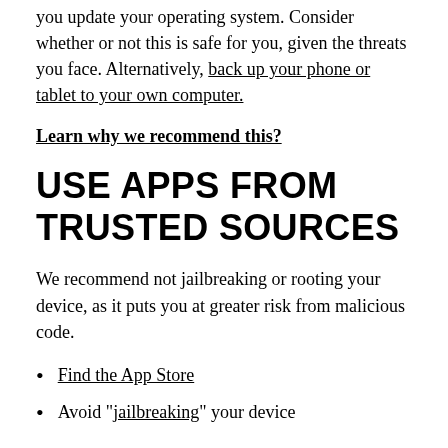you update your operating system. Consider whether or not this is safe for you, given the threats you face. Alternatively, back up your phone or tablet to your own computer.
Learn why we recommend this?
USE APPS FROM TRUSTED SOURCES
We recommend not jailbreaking or rooting your device, as it puts you at greater risk from malicious code.
Find the App Store
Avoid "jailbreaking" your device